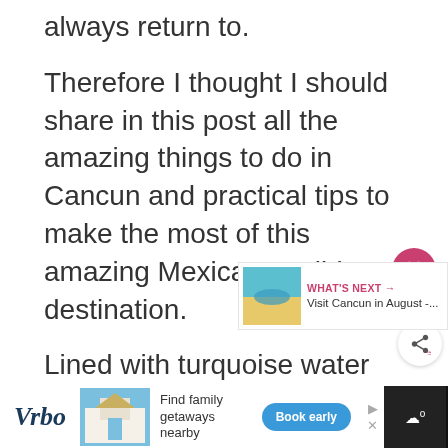always return to.
Therefore I thought I should share in this post all the amazing things to do in Cancun and practical tips to make the most of this amazing Mexican Caribbean destination.
Lined with turquoise water and pristine white sand beaches, Cancun is not short of incredible adventurous activities and world-class resorts.
[Figure (screenshot): Ad banner at the bottom for Vrbo showing 'Find family getaways nearby' with a Book early button]